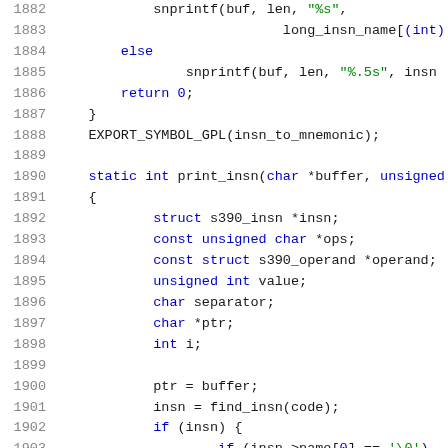[Figure (screenshot): Source code listing showing C code lines 1882-1903. Code includes snprintf calls, else branch, return statement, EXPORT_SYMBOL_GPL macro, and static int print_insn function with variable declarations and initial statements.]